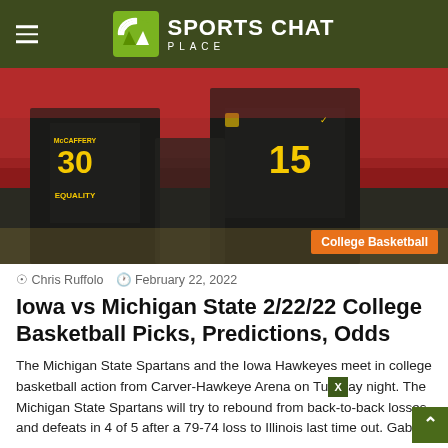Sports Chat Place
[Figure (photo): Iowa Hawkeyes basketball players wearing black and gold jerseys with numbers 30 (McCaffery, EQUALITY) and 15, viewed from behind, in a crowded arena with red seats and spectators in background.]
College Basketball
Chris Ruffolo  February 22, 2022
Iowa vs Michigan State 2/22/22 College Basketball Picks, Predictions, Odds
The Michigan State Spartans and the Iowa Hawkeyes meet in college basketball action from Carver-Hawkeye Arena on Tuesday night. The Michigan State Spartans will try to rebound from back-to-back losses and defeats in 4 of 5 after a 79-74 loss to Illinois last time out. Gabe Brown led the Spartans...